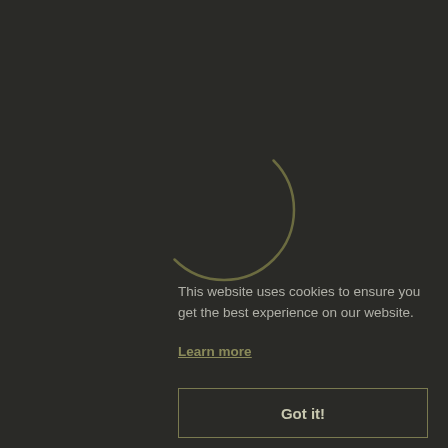[Figure (other): Partial circle loading spinner outline in dark olive/gray color on a dark background, showing approximately 270 degrees of a circle arc]
This website uses cookies to ensure you get the best experience on our website.
Learn more
Got it!